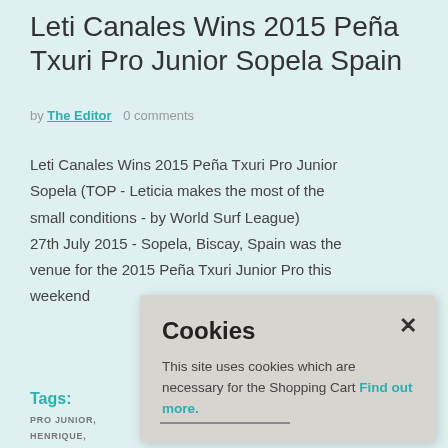Leti Canales Wins 2015 Peña Txuri Pro Junior Sopela Spain
by The Editor   0 comments
Leti Canales Wins 2015 Peña Txuri Pro Junior Sopela (TOP - Leticia makes the most of the small conditions - by World Surf League) 27th July 2015 - Sopela, Biscay, Spain was the venue for the 2015 Peña Txuri Junior Pro this weekend
Tags:
PRO JUNIOR,
HENRIQUE,
LETICIA CANALES BILBAO,
RESULTS, SOPELA, WOMENS
Cookies
This site uses cookies which are necessary for the Shopping Cart Find out more.